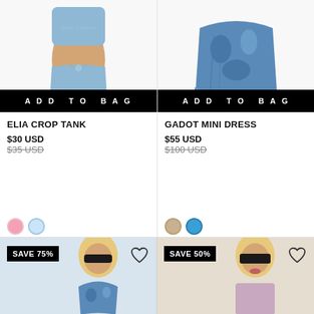[Figure (photo): Model wearing blue crop tank top and matching blue mini skirt with drawstring]
ADD TO BAG
ELIA CROP TANK
$30 USD
$35 USD (strikethrough)
[Figure (photo): Color swatches: pink and light blue circles]
[Figure (photo): Model wearing blue patterned/printed mini dress with ruching, shown from waist down with heeled sandals]
ADD TO BAG
GADOT MINI DRESS
$55 USD
$100 USD (strikethrough)
[Figure (photo): Color swatches: tan/nude and blue circles]
[Figure (photo): Bottom left product thumbnail: blonde model in sunglasses wearing blue printed bikini/set, with SAVE 75% badge and heart icon]
[Figure (photo): Bottom right product thumbnail: blonde model in sunglasses, with SAVE 50% badge and heart icon]